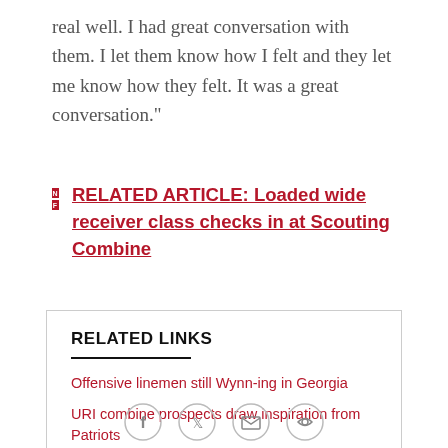real well. I had great conversation with them. I let them know how I felt and they let me know how they felt. It was a great conversation."
RELATED ARTICLE: Loaded wide receiver class checks in at Scouting Combine
RELATED LINKS
Offensive linemen still Wynn-ing in Georgia
URI combine prospects draw inspiration from Patriots
Georgia's Rodrigo Blankenship could be a kicking option
It's all in the family for Moss